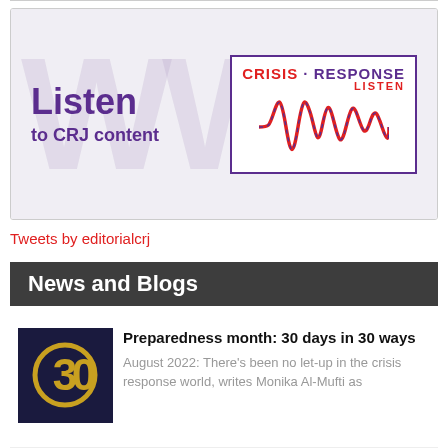[Figure (illustration): Banner image: 'Listen to CRJ content' with Crisis Response Journal listen logo showing waveform in red and purple]
Tweets by editorialcrj
News and Blogs
[Figure (illustration): Thumbnail image showing golden '30' on dark navy background for 'Preparedness month: 30 days in 30 ways' blog post]
Preparedness month: 30 days in 30 ways
August 2022: There's been no let-up in the crisis response world, writes Monika Al-Mufti as